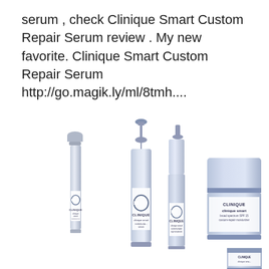serum , check Clinique Smart Custom Repair Serum review . My new favorite. Clinique Smart Custom Repair Serum http://go.magik.ly/ml/8tmh....
[Figure (photo): Product photo of Clinique Smart skincare line: five silver/light blue bottles and jars including treatment oil, custom-repair serum, custom-repair eye treatment, broad spectrum SPF 15 custom-repair moisturizer, and another jar. All branded with Clinique logo and 'clinique smart' text.]